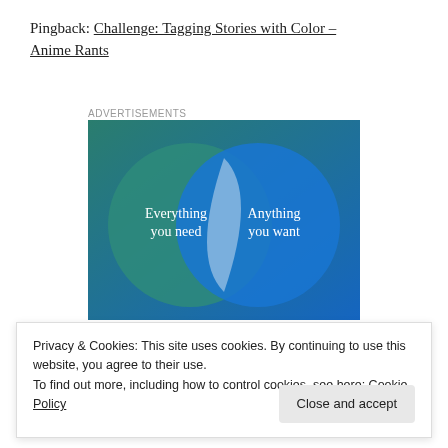Pingback: Challenge: Tagging Stories with Color – Anime Rants
Advertisements
[Figure (infographic): Venn diagram with two overlapping circles on a teal-to-blue gradient background. Left circle (green-teal) labeled 'Everything you need', right circle (blue) labeled 'Anything you want', overlapping intersection is light/white.]
Privacy & Cookies: This site uses cookies. By continuing to use this website, you agree to their use.
To find out more, including how to control cookies, see here: Cookie Policy
Close and accept